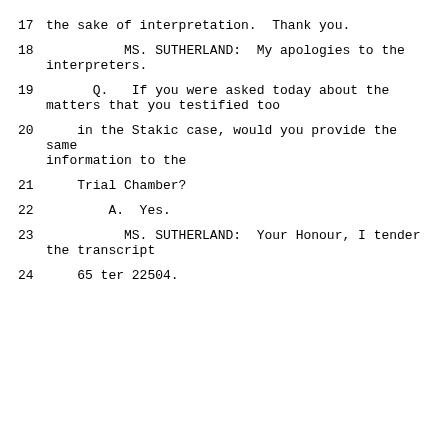17    the sake of interpretation.  Thank you.
18              MS. SUTHERLAND:  My apologies to the interpreters.
19        Q.   If you were asked today about the matters that you testified too
20      in the Stakic case, would you provide the same information to the
21      Trial Chamber?
22          A.  Yes.
23              MS. SUTHERLAND:  Your Honour, I tender the transcript
24      65 ter 22504.